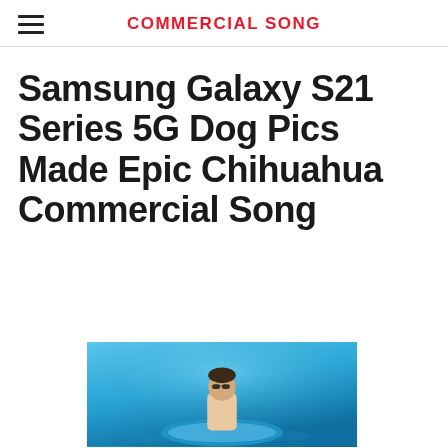COMMERCIAL SONG
Samsung Galaxy S21 Series 5G Dog Pics Made Epic Chihuahua Commercial Song
[Figure (photo): Person in sunglasses on a blue inflatable pool float in water, vivid blue background]